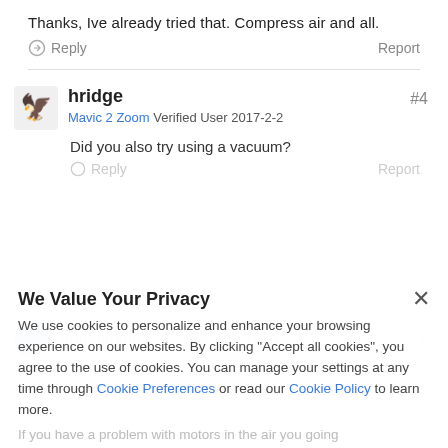Thanks,  Ive already tried that.  Compress air and all.
Reply   Report
hridge   #4
Mavic 2 Zoom  Verified User  2017-2-2
Did you also try using a vacuum?
Reply   Report
We Value Your Privacy
We use cookies to personalize and enhance your browsing experience on our websites. By clicking "Accept all cookies", you agree to the use of cookies. You can manage your settings at any time through Cookie Preferences or read our Cookie Policy to learn more.
Accept All
If you have a problem with motors in the air you going
to fall out of the sky and need it in under warranty
Cookie Pref...